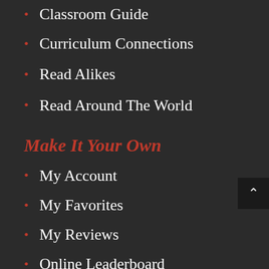Classroom Guide
Curriculum Connections
Read Alikes
Read Around The World
Make It Your Own
My Account
My Favorites
My Reviews
Online Leaderboard
Nuts and Bolts